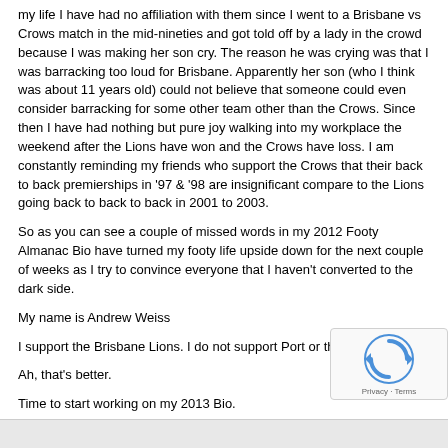my life I have had no affiliation with them since I went to a Brisbane vs Crows match in the mid-nineties and got told off by a lady in the crowd because I was making her son cry. The reason he was crying was that I was barracking too loud for Brisbane. Apparently her son (who I think was about 11 years old) could not believe that someone could even consider barracking for some other team other than the Crows. Since then I have had nothing but pure joy walking into my workplace the weekend after the Lions have won and the Crows have loss. I am constantly reminding my friends who support the Crows that their back to back premierships in '97 & '98 are insignificant compare to the Lions going back to back to back in 2001 to 2003.
So as you can see a couple of missed words in my 2012 Footy Almanac Bio have turned my footy life upside down for the next couple of weeks as I try to convince everyone that I haven't converted to the dark side.
My name is Andrew Weiss
I support the Brisbane Lions. I do not support Port or the Crows.
Ah, that's better.
Time to start working on my 2013 Bio.
Merry Christmas Almanackers